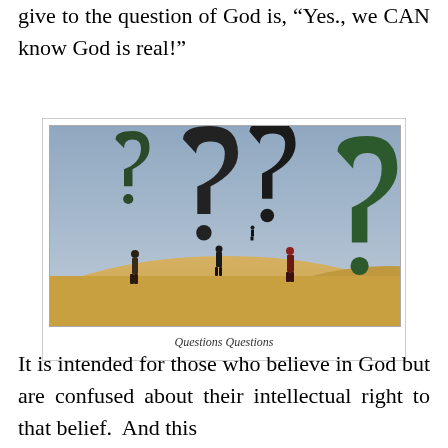give to the question of God is, “Yes., we CAN know God is real!”
[Figure (photo): Surreal image of people standing in a desert landscape surrounded by giant question marks]
Questions Questions
It is intended for those who believe in God but are confused about their intellectual right to that belief. And this